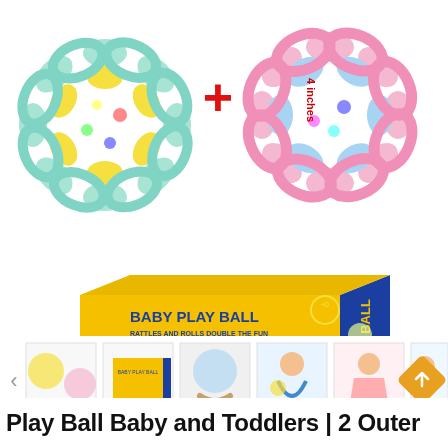[Figure (photo): Two colorful baby rattle balls (one yellow-green and one pink-blue) shown with a red plus sign between them, indicating a set of 2. A '4 inches' label appears on the right side.]
[Figure (photo): Product box for 'Baby Play Ball' - yellow and blue packaging showing both rattle balls, '2 PCS' label, and '+0' age indicator.]
[Figure (photo): Thumbnail navigation strip with 6 product images including ball images, packaging, hand holding ball, baby with ball, and baby with towel. Left arrow navigation visible.]
Play Ball Baby and Toddlers | 2 Outer